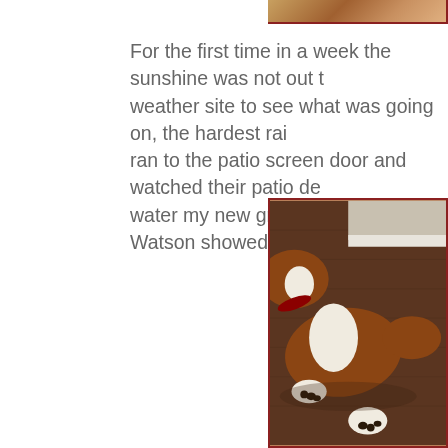[Figure (photo): Partial view of a dog photo at the top of the page, cropped, showing brown and white fur tones.]
For the first time in a week the sunshine was not out t... weather site to see what was going on, the hardest rai... ran to the patio screen door and watched their patio de... water my new grass today and Watson showed no sig...
[Figure (photo): A brown and white dog lying flat on a dark hardwood floor, seen from above. The dog appears to be a hound or spaniel type with a red collar. White baseboard molding visible in the background.]